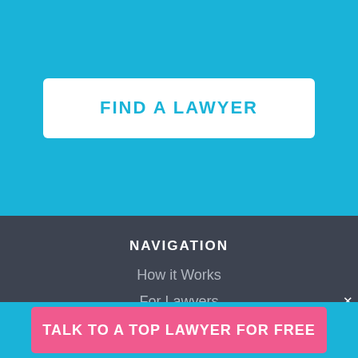FIND A LAWYER
NAVIGATION
How it Works
For Lawyers
Free Legal Documents
Blog
Sitemap
ABOUT
The Company
TALK TO A TOP LAWYER FOR FREE